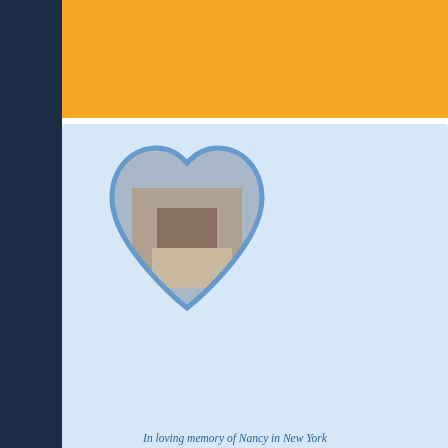[Figure (illustration): Orange/yellow banner advertisement area at top of page]
[Figure (photo): Blue panel with heart-shaped photo frame containing an image of a hand holding a small animal (frog/turtle). Memorial tribute panel.]
In loving memory of Nancy in New York
Search:
Tag: feeding
Search:
Baby refusing formula.....
Started by Cami, 05-15-2022 12:26 PM  1  2
Replies: Views: Forum: Non L...
Seasonal Foods - USA
Started by AMSRFFG, 11-18-2021 08:29 AM  Replies: Views: